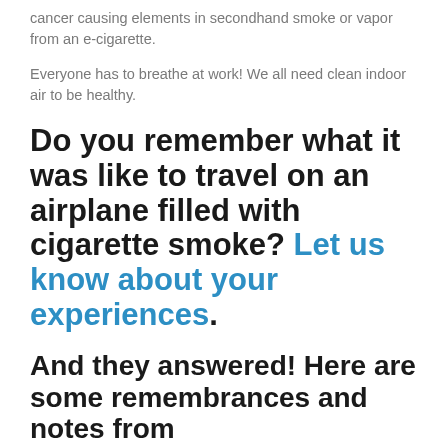cancer causing elements in secondhand smoke or vapor from an e-cigarette.
Everyone has to breathe at work! We all need clean indoor air to be healthy.
Do you remember what it was like to travel on an airplane filled with cigarette smoke? Let us know about your experiences.
And they answered! Here are some remembrances and notes from